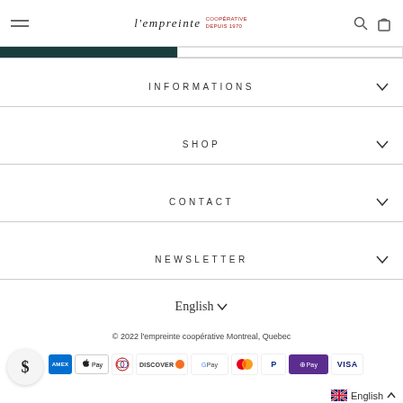l'empreinte [logo with tagline]
INFORMATIONS
SHOP
CONTACT
NEWSLETTER
English ∨
© 2022 l'empreinte coopérative Montreal, Quebec
[Figure (logo): Payment icons: Amex, Apple Pay, Diners Club, Discover, Google Pay, Mastercard, PayPal, Shop Pay, Visa]
English ∧